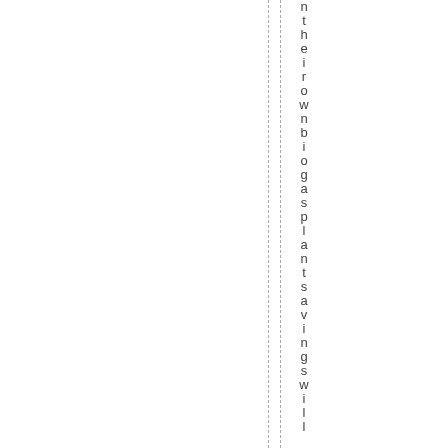theirownbiogasplantsavingswil l